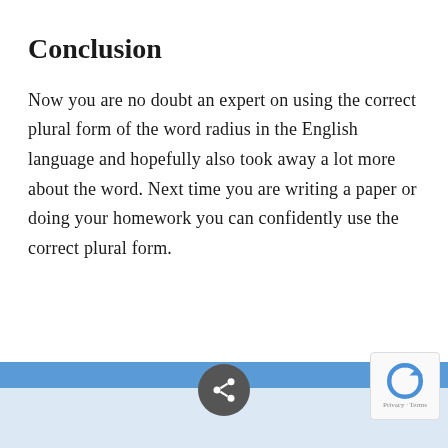Conclusion
Now you are no doubt an expert on using the correct plural form of the word radius in the English language and hopefully also took away a lot more about the word. Next time you are writing a paper or doing your homework you can confidently use the correct plural form.